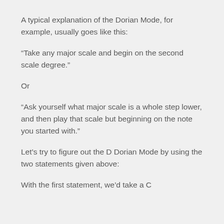A typical explanation of the Dorian Mode, for example, usually goes like this:
“Take any major scale and begin on the second scale degree.”
Or
“Ask yourself what major scale is a whole step lower, and then play that scale but beginning on the note you started with.”
Let’s try to figure out the D Dorian Mode by using the two statements given above:
With the first statement, we’d take a C